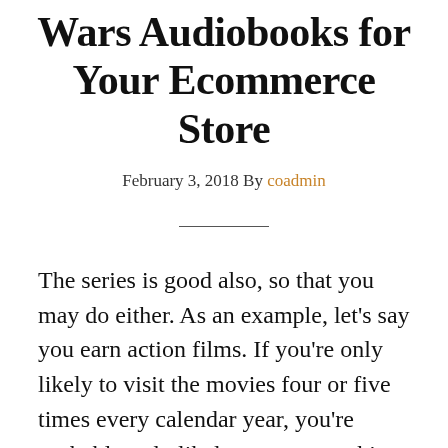Wars Audiobooks for Your Ecommerce Store
February 3, 2018 By coadmin
The series is good also, so that you may do either. As an example, let’s say you earn action films. If you’re only likely to visit the movies four or five times every calendar year, you’re probably only likely to see something spectacular. There’s probably